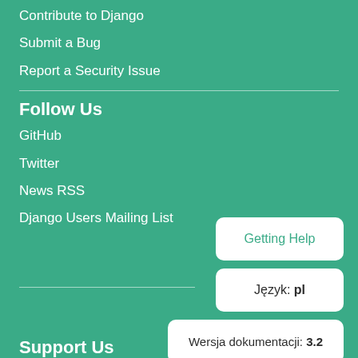Contribute to Django
Submit a Bug
Report a Security Issue
Follow Us
GitHub
Twitter
News RSS
Django Users Mailing List
Getting Help
Język: pl
Wersja dokumentacji: 3.2
Support Us